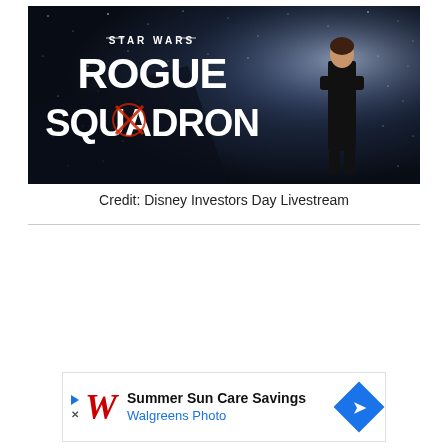[Figure (photo): Star Wars: Rogue Squadron title card with a woman in a black suit standing on a dark starfield background. The logo shows 'STAR WARS' above 'ROGUE SQUADRON' in large white text with red accents.]
Credit: Disney Investors Day Livestream
[Figure (infographic): Walgreens Photo advertisement banner: 'Summer Sun Care Savings' with Walgreens Photo text and logo, blue navigation arrow icon on the right.]